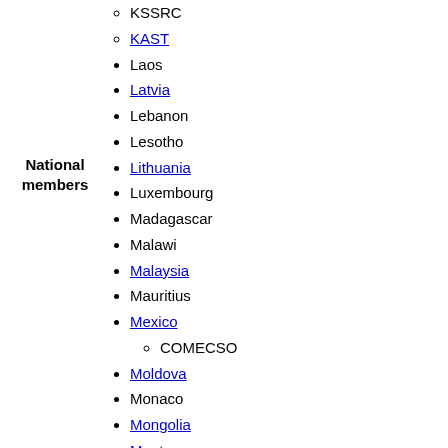KSSRC
KAST
Laos
Latvia
Lebanon
Lesotho
Lithuania
Luxembourg
Madagascar
Malawi
Malaysia
Mauritius
Mexico
COMECSO
Moldova
Monaco
Mongolia
Montenegro
Morocco
Mozambique
Namibia
Nepal
Netherlands
New Zealand
Nigeria